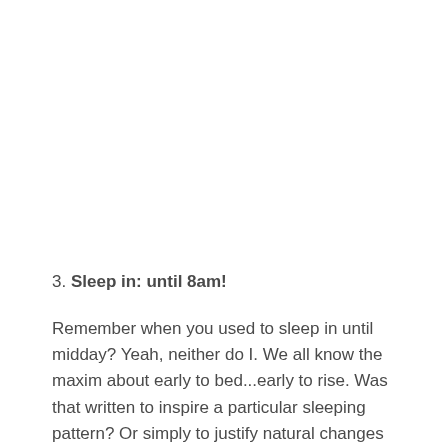3. Sleep in: until 8am!
Remember when you used to sleep in until midday? Yeah, neither do I. We all know the maxim about early to bed...early to rise. Was that written to inspire a particular sleeping pattern? Or simply to justify natural changes that are unavoidable with